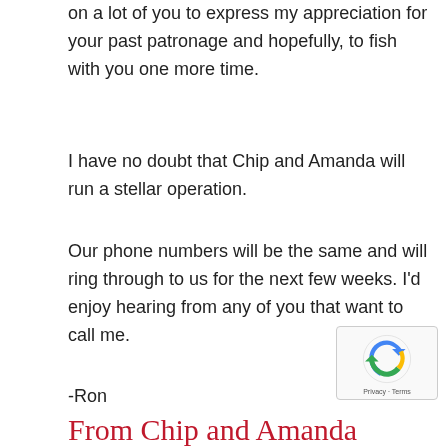on a lot of you to express my appreciation for your past patronage and hopefully, to fish with you one more time.
I have no doubt that Chip and Amanda will run a stellar operation.
Our phone numbers will be the same and will ring through to us for the next few weeks. I’d enjoy hearing from any of you that want to call me.
-Ron
From Chip and Amanda